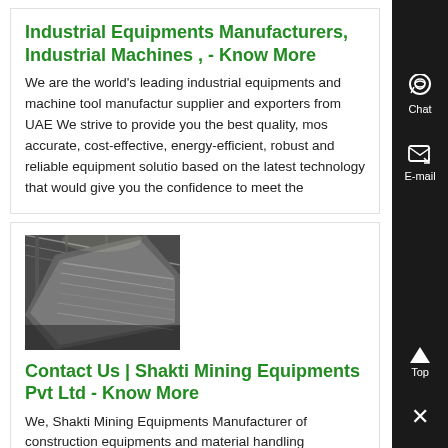Industrial Equipments Manufacturers, Industrial Machines , - Know More
We are the world's leading industrial equipments and machine tool manufacturer, supplier and exporters from UAE We strive to provide you the best quality, most accurate, cost-effective, energy-efficient, robust and reliable equipment solutions based on the latest technology that would give you the confidence to meet the
[Figure (photo): Industrial factory interior showing machinery with metal sheets or conveyors]
Contact Us | Shakti Mining Equipments Pvt Ltd - Know More
We, Shakti Mining Equipments Manufacturer of construction equipments and material handling equipments like artificial and plaster sand making machine, vertical shaft impactor, screening machines, crushing and mining equipments (cone crusher, jaw crusher, rock crusher, mobile crusher, gyratory crusher,